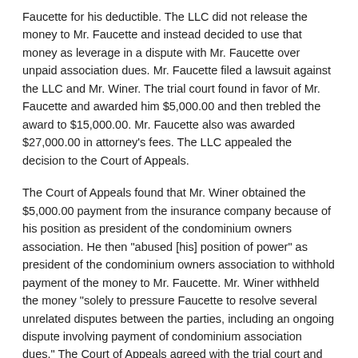Faucette for his deductible. The LLC did not release the money to Mr. Faucette and instead decided to use that money as leverage in a dispute with Mr. Faucette over unpaid association dues. Mr. Faucette filed a lawsuit against the LLC and Mr. Winer. The trial court found in favor of Mr. Faucette and awarded him $5,000.00 and then trebled the award to $15,000.00. Mr. Faucette also was awarded $27,000.00 in attorney's fees. The LLC appealed the decision to the Court of Appeals.
The Court of Appeals found that Mr. Winer obtained the $5,000.00 payment from the insurance company because of his position as president of the condominium owners association. He then "abused [his] position of power" as president of the condominium owners association to withhold payment of the money to Mr. Faucette. Mr. Winer withheld the money "solely to pressure Faucette to resolve several unrelated disputes between the parties, including an ongoing dispute involving payment of condominium association dues." The Court of Appeals agreed with the trial court and found that these acts were unfair and deceptive within the meaning of Chapter 75 of the North Carolina General Statutes. The Court of Appeals therefore upheld the trial court's order.